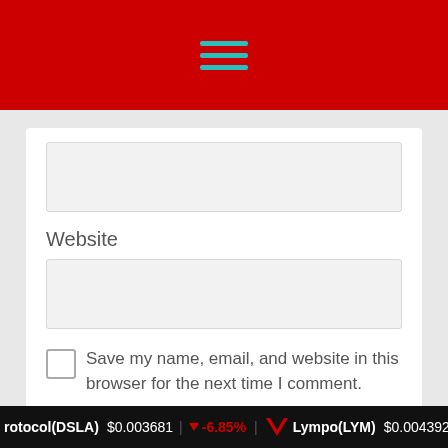Navigation menu (hamburger icon)
[Figure (screenshot): Website form with a text input field, a Website label, a second text input field, a checkbox with label 'Save my name, email, and website in this browser for the next time I comment.', and a red Post Comment button]
Website
Save my name, email, and website in this browser for the next time I comment.
Post Comment
rotocol(DSLA) $0.003681 | -6.85% | Lympo(LYM) $0.004392 | -4.4...